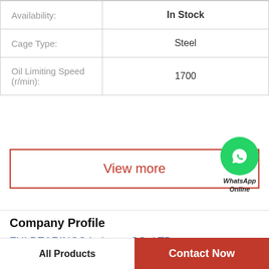| Property | Value |
| --- | --- |
| Availability: | In Stock |
| Cage Type: | Steel |
| Oil Limiting Speed (r/min): | 1700 |
View more
[Figure (logo): WhatsApp green circle icon with phone handset, labeled 'WhatsApp Online']
Company Profile
FUI BEARINGS Industry CO.,LTD.
Phone   22-596-20-60
All Products   Contact Now